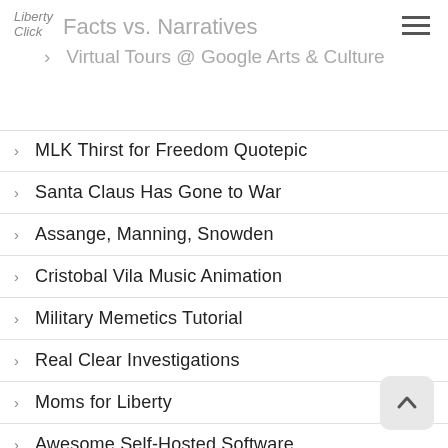Liberty Click — Facts vs. Narratives / Virtual Tours @ Google Arts & Culture
MLK Thirst for Freedom Quotepic
Santa Claus Has Gone to War
Assange, Manning, Snowden
Cristobal Vila Music Animation
Military Memetics Tutorial
Real Clear Investigations
Moms for Liberty
Awesome Self-Hosted Software
Edmund Burke on Triumph of the Good
The Most Dangerous Weapon
Free Software Foundation
Clifford Berryman Ayes and Nos
Tetris
Apocalypse Optimism
Uncle Sam Propaganda Poster